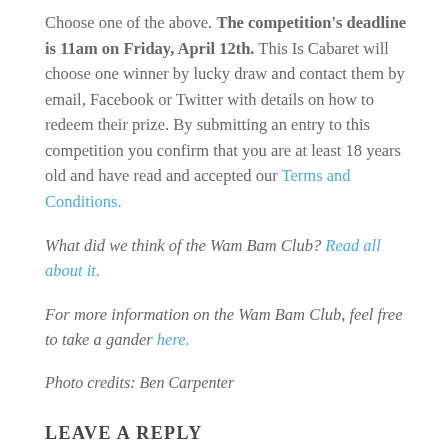Choose one of the above. The competition's deadline is 11am on Friday, April 12th. This Is Cabaret will choose one winner by lucky draw and contact them by email, Facebook or Twitter with details on how to redeem their prize. By submitting an entry to this competition you confirm that you are at least 18 years old and have read and accepted our Terms and Conditions.
What did we think of the Wam Bam Club? Read all about it.
For more information on the Wam Bam Club, feel free to take a gander here.
Photo credits: Ben Carpenter
LEAVE A REPLY